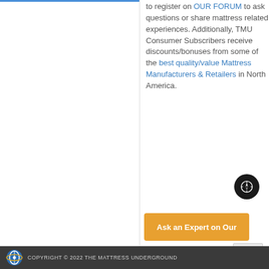to register on OUR FORUM to ask questions or share mattress related experiences. Additionally, TMU Consumer Subscribers receive discounts/bonuses from some of the best quality/value Mattress Manufacturers & Retailers in North America.
[Figure (other): Orange button labeled 'Ask an Expert on Our']
[Figure (other): Dark circular compass icon]
[Figure (other): Back-to-top double chevron arrow button]
Copyright © 2022 The Mattress Underground